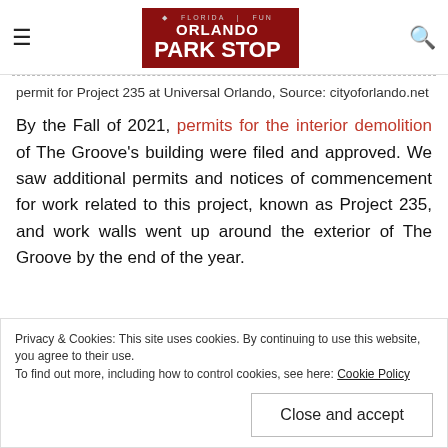Orlando Park Stop
permit for Project 235 at Universal Orlando, Source: cityoforlando.net
By the Fall of 2021, permits for the interior demolition of The Groove's building were filed and approved. We saw additional permits and notices of commencement for work related to this project, known as Project 235, and work walls went up around the exterior of The Groove by the end of the year.
Privacy & Cookies: This site uses cookies. By continuing to use this website, you agree to their use. To find out more, including how to control cookies, see here: Cookie Policy
Close and accept